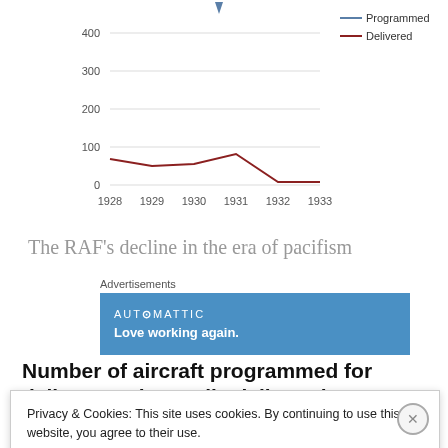[Figure (line-chart): Number of aircraft programmed for delivery and actually delivered 1928-33]
The RAF’s decline in the era of pacifism
[Figure (other): Automattic advertisement banner: AUTOMATTIC - Love working again.]
Number of aircraft programmed for delivery and actually delivered 1928-33****
Privacy & Cookies: This site uses cookies. By continuing to use this website, you agree to their use.
To find out more, including how to control cookies, see here: Cookie Policy